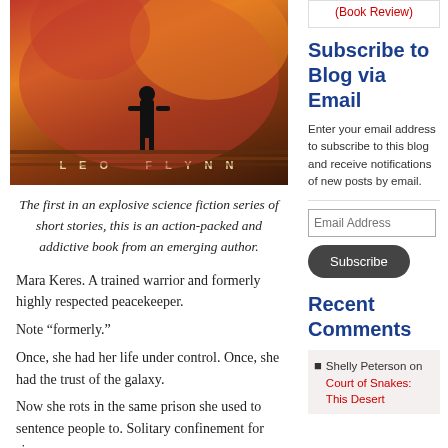[Figure (illustration): Book cover with sci-fi artwork showing a figure standing against a red/orange planetary sky, author name LEO FLYNN at the bottom in spaced letters]
The first in an explosive science fiction series of short stories, this is an action-packed and addictive book from an emerging author.
Mara Keres. A trained warrior and formerly highly respected peacekeeper.
Note “formerly.”
Once, she had her life under control. Once, she had the trust of the galaxy.
Now she rots in the same prison she used to sentence people to. Solitary confinement for six
(Book Review)
Subscribe to Blog via Email
Enter your email address to subscribe to this blog and receive notifications of new posts by email.
Email Address
Subscribe
Recent Comments
Shelly Peterson on Court of Snakes: This Desert